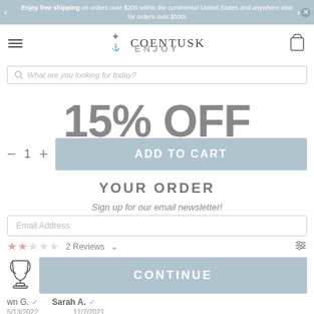Enjoy free shipping on orders over $200 within the continental United States and anywhere else for orders over $500!
[Figure (logo): COENTUSK brand logo with tree/anchor icon]
ENJOY
What are you looking for today?
15% OFF
— 1 +  ADD TO CART
YOUR ORDER
Sign up for our email newsletter!
Email Address
2 Reviews
CONTINUE
wn G.  Sarah A.
5/13/2022  11/7/2021
*15% off welcome discount is applicable on your first order only. Discount